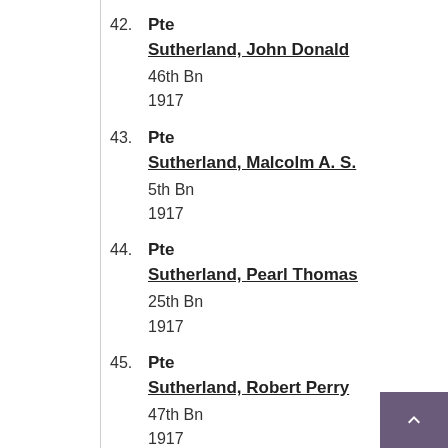42. Pte Sutherland, John Donald 46th Bn 1917
43. Pte Sutherland, Malcolm A. S. 5th Bn 1917
44. Pte Sutherland, Pearl Thomas 25th Bn 1917
45. Pte Sutherland, Robert Perry 47th Bn 1917